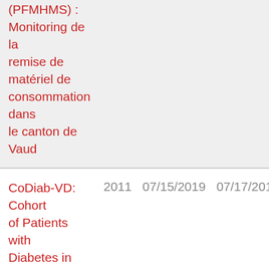| Title | Year | Start Date | End Date |
| --- | --- | --- | --- |
| (PFMHMS) : Monitoring de la remise de matériel de consommation dans le canton de Vaud |  |  |  |
| CoDiab-VD: Cohort of Patients with Diabetes in the Canton of Vaud (Switzerland) | 2011 | 07/15/2019 | 07/17/2019 |
| Baseline values, between and within subject variability of non-invasive biomarkers of inflammation and oxidative stress | 2019 | 07/18/2019 | 07/22/2019 |